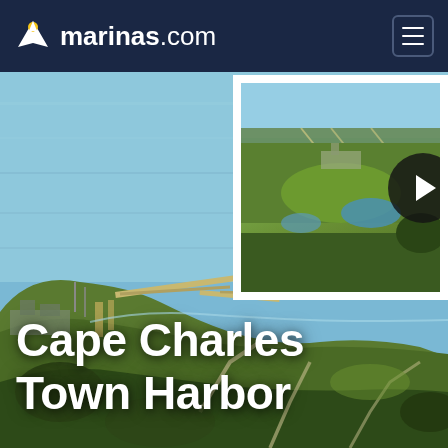marinas.com
[Figure (photo): Aerial photograph of Cape Charles Town Harbor showing marina, docks, bay coastline, and surrounding green landscape from above]
[Figure (photo): Thumbnail video preview of another aerial view of the harbor area with a play button overlay]
Cape Charles Town Harbor